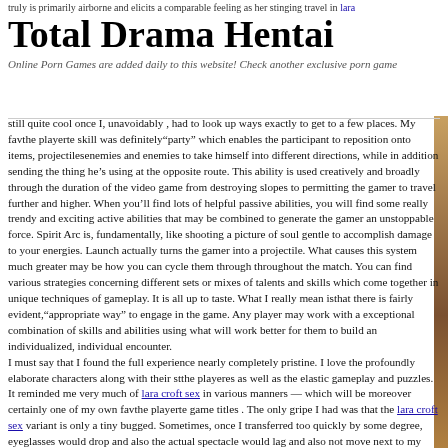truly is primarily airborne and elicits a comparable feeling as her stinging travel in lara
Total Drama Hentai
Online Porn Games are added daily to this website! Check another exclusive porn game
still quite cool once I, unavoidably , had to look up ways exactly to get to a few places. My favthe playerte skill was definitely"party" which enables the participant to reposition onto items, projectilesenemies and enemies to take himself into different directions, while in addition sending the thing he's using at the opposite route. This ability is used creatively and broadly through the duration of the video game from destroying slopes to permitting the gamer to travel further and higher. When you'll find lots of helpful passive abilities, you will find some really trendy and exciting active abilities that may be combined to generate the gamer an unstoppable force. Spirit Arc is, fundamentally, like shooting a picture of soul gentle to accomplish damage to your energies. Launch actually turns the gamer into a projectile. What causes this system much greater may be how you can cycle them through throughout the match. You can find various strategies concerning different sets or mixes of talents and skills which come together in unique techniques of gameplay. It is all up to taste. What I really mean isthat there is fairly evident,"appropriate way" to engage in the game. Any player may work with a exceptional combination of skills and abilities using what will work better for them to build an individualized, individual encounter.
I must say that I found the full experience nearly completely pristine. I love the profoundly elaborate characters along with their stthe playeres as well as the elastic gameplay and puzzles. It reminded me very much of lara croft sex in various manners — which will be moreover certainly one of my own favthe playerte game titles . The only gripe I had was that the lara croft sex variant is only a tiny bugged. Sometimes, once I transferred too quickly by some degree, eyeglasses would drop and also the actual spectacle would lag and also not move next to my personality. One timeI inadvertently cut through the ground and walls, and that I had to restart my game and shed a little progress (see below).
And this was one thing I discovered from my experience along the way — of course when I